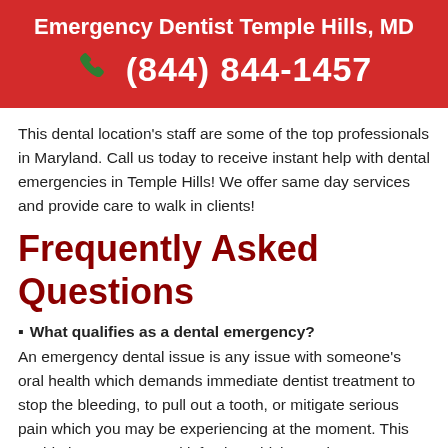Emergency Dentist Temple Hills, MD
(844) 844-1457
This dental location's staff are some of the top professionals in Maryland. Call us today to receive instant help with dental emergencies in Temple Hills! We offer same day services and provide care to walk in clients!
Frequently Asked Questions
What qualifies as a dental emergency?
An emergency dental issue is any issue with someone's oral health which demands immediate dentist treatment to stop the bleeding, to pull out a tooth, or mitigate serious pain which you may be experiencing at the moment. This could also mean an oral infection which may become deadly. If you find yourself in a situation with a dental emergency, it's imperative that you reach out to the